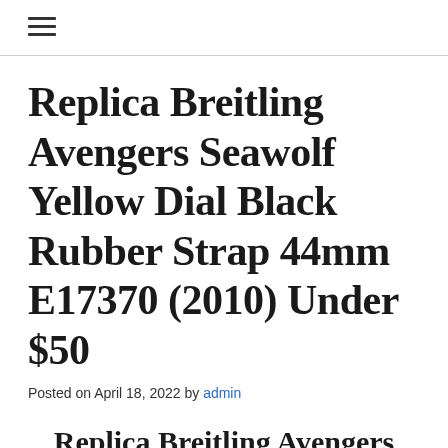≡
Replica Breitling Avengers Seawolf Yellow Dial Black Rubber Strap 44mm E17370 (2010) Under $50
Posted on April 18, 2022 by admin
Replica Breitling Avengers Seawolf Yellow Dial Black Rubber Strap 44mm E17370 (2010) Under $50